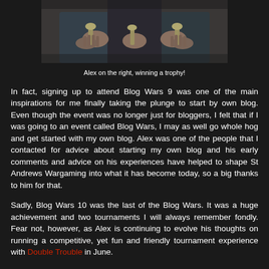[Figure (photo): Two people holding trophies or similar objects, partial view showing hands and torsos against a dark background]
Alex on the right, winning a trophy!
In fact, signing up to attend Blog Wars 9 was one of the main inspirations for me finally taking the plunge to start by own blog. Even though the event was no longer just for bloggers, I felt that if I was going to an event called Blog Wars, I may as well go whole hog and get started with my own blog. Alex was one of the people that I contacted for advice about starting my own blog and his early comments and advice on his experiences have helped to shape St Andrews Wargaming into what it has become today, so a big thanks to him for that.
Sadly, Blog Wars 10 was the last of the Blog Wars. It was a huge achievement and two tournaments I will always remember fondly. Fear not, however, as Alex is continuing to evolve his thoughts on running a competitive, yet fun and friendly tournament experience with Double Trouble in June.